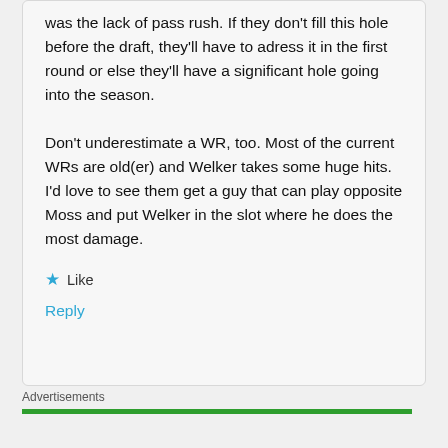was the lack of pass rush. If they don't fill this hole before the draft, they'll have to adress it in the first round or else they'll have a significant hole going into the season.

Don't underestimate a WR, too. Most of the current WRs are old(er) and Welker takes some huge hits. I'd love to see them get a guy that can play opposite Moss and put Welker in the slot where he does the most damage.
★ Like
Reply
Advertisements